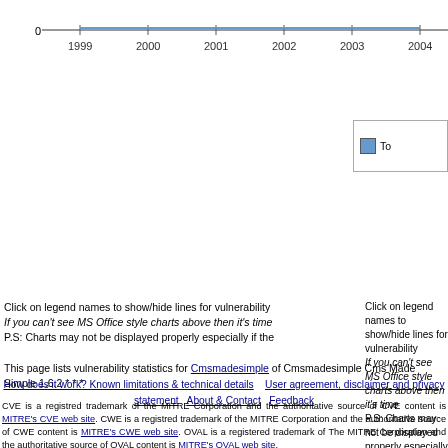[Figure (line-chart): Partial line chart visible at top of page showing years 1999-2004 on x-axis and value 0 on y-axis, with a near-flat blue line. Chart is cropped.]
Click on legend names to show/hide lines for vulnerability
If you can't see MS Office style charts above then it's time
P.S: Charts may not be displayed properly especially if the
This page lists vulnerability statistics for Cmsmadesimple of Cmsmadesimple Cms Made Simple 1.6.2 * * *
How does it work? Known limitations & technical details  User agreement, disclaimer and privacy statement  About & Contact  Feedback
CVE is a registred trademark of the MITRE Corporation and the authoritative source of CVE content is MITRE's CVE web site. CWE is a registred trademark of the MITRE Corporation and the authoritative source of CWE content is MITRE's CWE web site. OVAL is a registered trademark of The MITRE Corporation and the authoritative source of OVAL content is MITRE's OVAL web site.
Use of this information constitutes acceptance for use in an AS IS condition. There are NO warranties, implied or otherwise, with regard to this information or its use. Any use of this information is at the user's risk. It is the responsibility of user to evaluate the accuracy, completeness or usefulness of any information, opinion, advice or other content. EACH USER WILL BE SOLELY RESPONSIBLE FOR ANY consequences of his or her direct or indirect use of this web site. ALL WARRANTIES OF ANY KIND ARE EXPRESSLY DISCLAIMED. This site will NOT BE LIABLE FOR ANY DIRECT, INDIRECT or any other kind of loss.